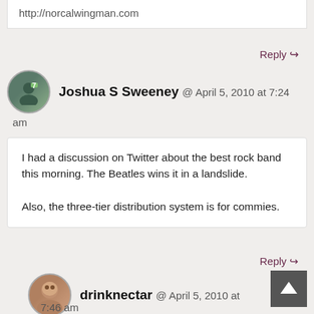http://norcalwingman.com
Reply ↩
Joshua S Sweeney @ April 5, 2010 at 7:24 am
I had a discussion on Twitter about the best rock band this morning. The Beatles wins it in a landslide.

Also, the three-tier distribution system is for commies.
Reply ↩
drinknectar @ April 5, 2010 at 7:46 am